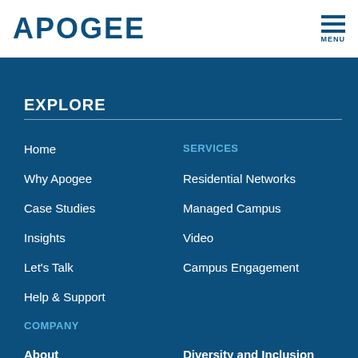APOGEE
EXPLORE
Home
SERVICES
Why Apogee
Residential Networks
Case Studies
Managed Campus
Insights
Video
Let's Talk
Campus Engagement
Help & Support
COMPANY
About
Diversity and Inclusion